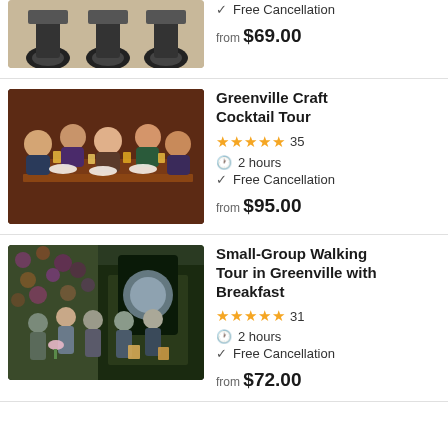[Figure (photo): Segways parked on pavement, partial top view]
Free Cancellation
from $69.00
[Figure (photo): Group of people at a long wooden table celebrating with drinks at a craft cocktail tour]
Greenville Craft Cocktail Tour
★★★★★ 35
2 hours
Free Cancellation
from $95.00
[Figure (photo): Small group of people standing outside a building with a floral wall for a walking tour with breakfast]
Small-Group Walking Tour in Greenville with Breakfast
★★★★★ 31
2 hours
Free Cancellation
from $72.00